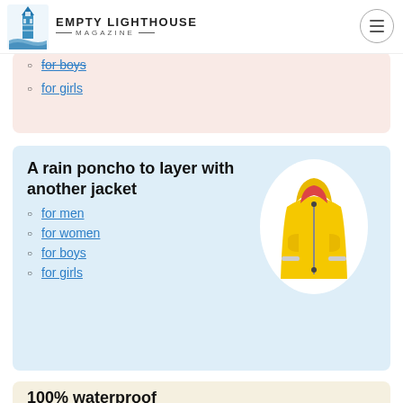EMPTY LIGHTHOUSE MAGAZINE
for boys
for girls
A rain poncho to layer with another jacket
[Figure (photo): Yellow children's rain jacket with reflective strips and hood]
for men
for women
for boys
for girls
100% waterproof